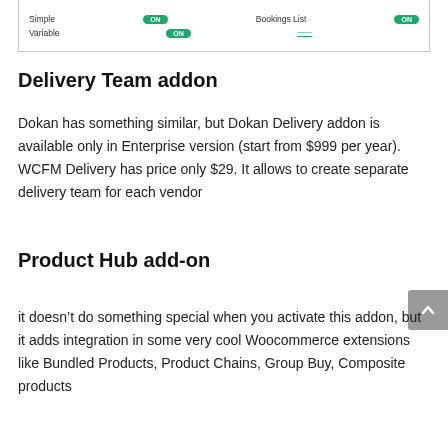[Figure (screenshot): A UI screenshot showing product type rows (Simple, Variable) with green ON toggle switches and a 'Bookings List' label with an ON toggle.]
Delivery Team addon
Dokan has something similar, but Dokan Delivery addon is available only in Enterprise version (start from $999 per year). WCFM Delivery has price only $29. It allows to create separate delivery team for each vendor
Product Hub add-on
it doesn’t do something special when you activate this addon, but it adds integration in some very cool Woocommerce extensions like Bundled Products, Product Chains, Group Buy, Composite products